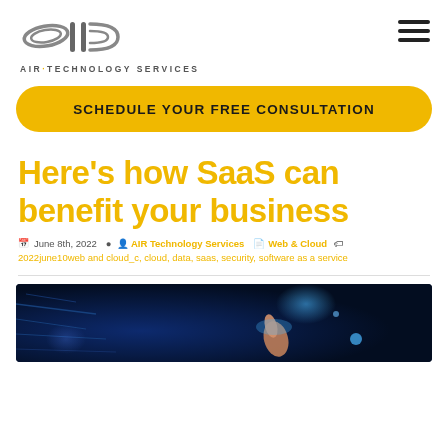[Figure (logo): AIR Technology Services logo with stylized 'air' lettering and tagline]
SCHEDULE YOUR FREE CONSULTATION
Here’s how SaaS can benefit your business
June 8th, 2022  AIR Technology Services  Web & Cloud  2022june10web and cloud_c, cloud, data, saas, security, software as a service
[Figure (photo): Dark background photo of a person touching a glowing digital screen with blue tech lighting effects]